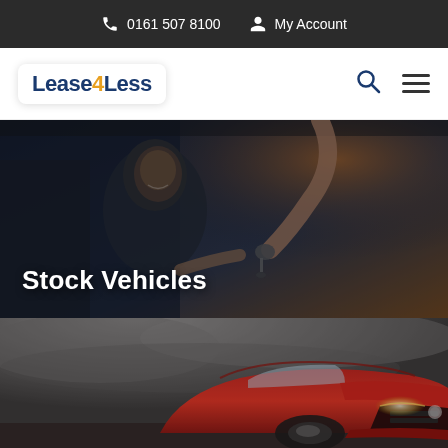0161 507 8100  My Account
[Figure (logo): Lease4Less logo in blue and orange]
[Figure (photo): Man in car smiling receiving car keys from someone outside the window, dark overlay]
Stock Vehicles
[Figure (photo): Red luxury car front side view against dramatic cloudy sky]